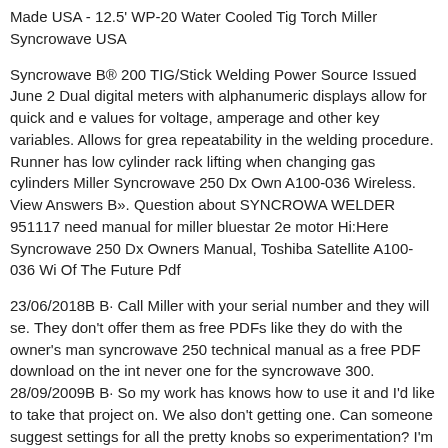Made USA - 12.5' WP-20 Water Cooled Tig Torch Miller Syncrowave USA
Syncrowave B® 200 TIG/Stick Welding Power Source Issued June 2 Dual digital meters with alphanumeric displays allow for quick and e values for voltage, amperage and other key variables. Allows for grea repeatability in the welding procedure. Runner has low cylinder rack lifting when changing gas cylinders Miller Syncrowave 250 Dx Own A100-036 Wireless. View Answers B». Question about SYNCROWA WELDER 951117 need manual for miller bluestar 2e motor Hi:Here Syncrowave 250 Dx Owners Manual, Toshiba Satellite A100-036 Wi Of The Future Pdf
23/06/2018B B· Call Miller with your serial number and they will se. They don't offer them as free PDFs like they do with the owner's man syncrowave 250 technical manual as a free PDF download on the int never one for the syncrowave 300. 28/09/2009B B· So my work has knows how to use it and I'd like to take that project on. We also don't getting one. Can someone suggest settings for all the pretty knobs so experimentation? I'm going at this with the assumption that all atti